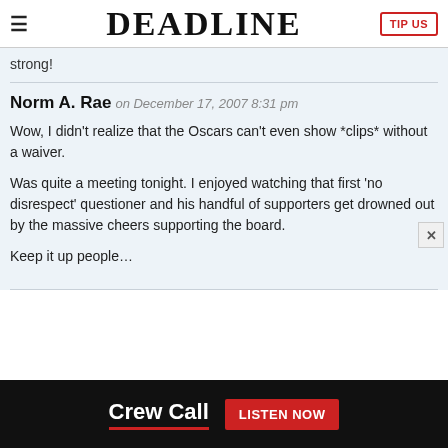DEADLINE
strong!
Norm A. Rae on December 17, 2007 8:31 pm
Wow, I didn't realize that the Oscars can't even show *clips* without a waiver.
Was quite a meeting tonight. I enjoyed watching that first 'no disrespect' questioner and his handful of supporters get drowned out by the massive cheers supporting the board.
Keep it up people…
[Figure (other): Crew Call advertisement banner with 'LISTEN NOW' button]